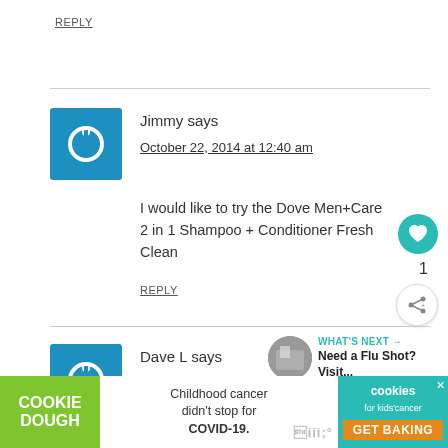REPLY
Jimmy says
October 22, 2014 at 12:40 am
I would like to try the Dove Men+Care 2 in 1 Shampoo + Conditioner Fresh Clean
REPLY
1
Dave L says
October 22, 2014 at 12:41 am
[Figure (infographic): WHAT'S NEXT arrow label with circular photo thumbnail and text: Need a Flu Shot? Visit...]
[Figure (infographic): Cookie Dough ad banner: Childhood cancer didn't stop for COVID-19. cookies for kids cancer GET BAKING]